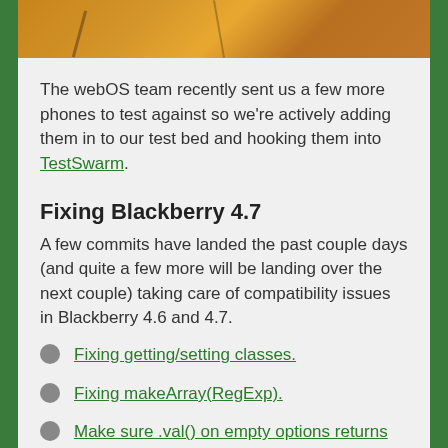[Figure (photo): Partial view of a wooden surface or basketball with orange/brown tones, cropped at top of page]
The webOS team recently sent us a few more phones to test against so we're actively adding them in to our test bed and hooking them into TestSwarm.
Fixing Blackberry 4.7
A few commits have landed the past couple days (and quite a few more will be landing over the next couple) taking care of compatibility issues in Blackberry 4.6 and 4.7.
Fixing getting/setting classes.
Fixing makeArray(RegExp).
Make sure .val() on empty options returns the text value rather than the value.